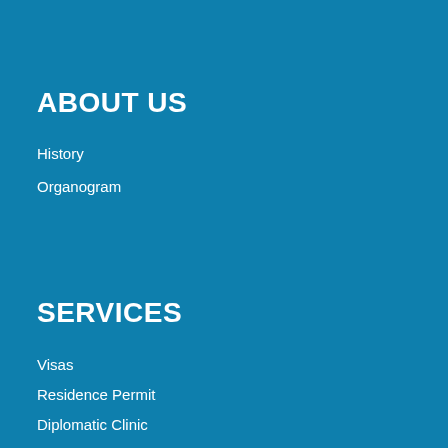ABOUT US
History
Organogram
SERVICES
Visas
Residence Permit
Diplomatic Clinic
Duty Free & Tax Exemption